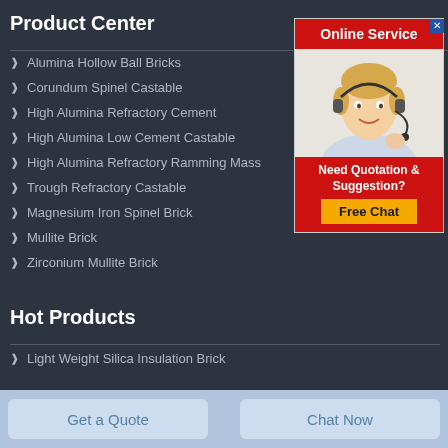Product Center
Alumina Hollow Ball Bricks
Corundum Spinel Castable
High Alumina Refractory Cement
High Alumina Low Cement Castable
High Alumina Refractory Ramming Mass
Trough Refractory Castable
Magnesium Iron Spinel Brick
Mullite Brick
Zirconium Mullite Brick
[Figure (illustration): Online Service popup with a customer service representative wearing a headset, 'Need Quotation & Suggestion?' text, and a 'Free Chat' button on red background]
Hot Products
Light Weight Silica Insulation Brick
Get a Quote
Chat Now